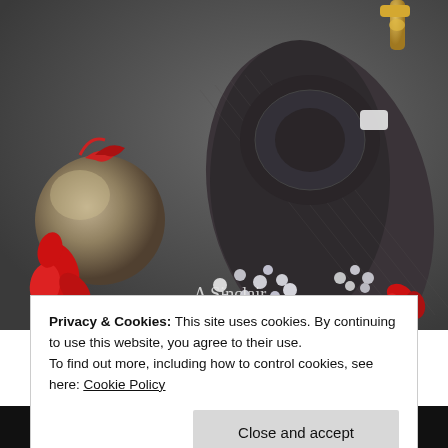[Figure (photo): A dark gray background with a rolled/curled dark charcoal necktie in the center. On the left, a silver/gold ornament ball with red ribbon. Red decorative flowers and crystal/pearl jewelry accents scattered around. Text overlay reads 'A Sinclair Novella' in light/white serif font. Gold accent object in top right corner.]
Privacy & Cookies: This site uses cookies. By continuing to use this website, you agree to their use.
To find out more, including how to control cookies, see here: Cookie Policy
Close and accept
Cl...